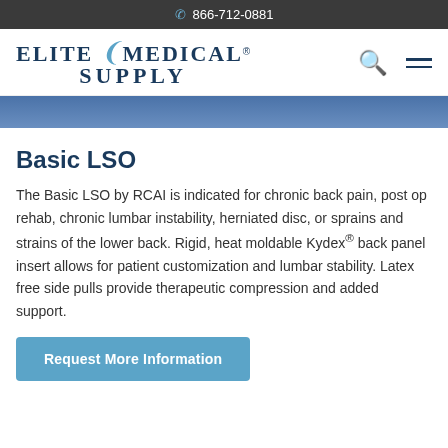866-712-0881
[Figure (logo): Elite Medical Supply logo with stylized bracket between Elite and Medical, and Supply on second line]
[Figure (photo): Partial product image showing a back brace/LSO device being worn, cropped blue background]
Basic LSO
The Basic LSO by RCAI is indicated for chronic back pain, post op rehab, chronic lumbar instability, herniated disc, or sprains and strains of the lower back. Rigid, heat moldable Kydex® back panel insert allows for patient customization and lumbar stability. Latex free side pulls provide therapeutic compression and added support.
Request More Information